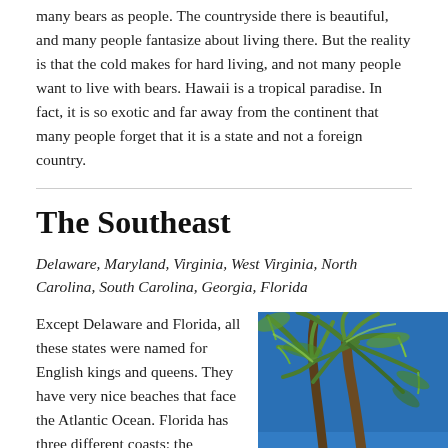many bears as people. The countryside there is beautiful, and many people fantasize about living there. But the reality is that the cold makes for hard living, and not many people want to live with bears. Hawaii is a tropical paradise. In fact, it is so exotic and far away from the continent that many people forget that it is a state and not a foreign country.
The Southeast
Delaware, Maryland, Virginia, West Virginia, North Carolina, South Carolina, Georgia, Florida
Except Delaware and Florida, all these states were named for English kings and queens. They have very nice beaches that face the Atlantic Ocean. Florida has three different coasts: the Atlantic, the Caribbean, and the Gulf of Mexico. Because of its nice weather, many people choose
[Figure (photo): Photograph of palm trees against a bright blue sky, shot from below looking up at the green fronds.]